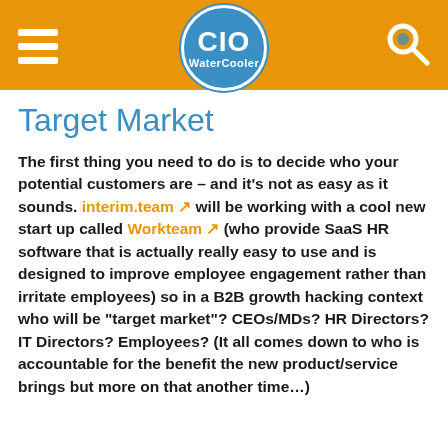CIO Water Cooler
Target Market
The first thing you need to do is to decide who your potential customers are – and it's not as easy as it sounds. interim.team will be working with a cool new start up called Workteam (who provide SaaS HR software that is actually really easy to use and is designed to improve employee engagement rather than irritate employees) so in a B2B growth hacking context who will be "target market"? CEOs/MDs? HR Directors? IT Directors? Employees? (It all comes down to who is accountable for the benefit the new product/service brings but more on that another time…)